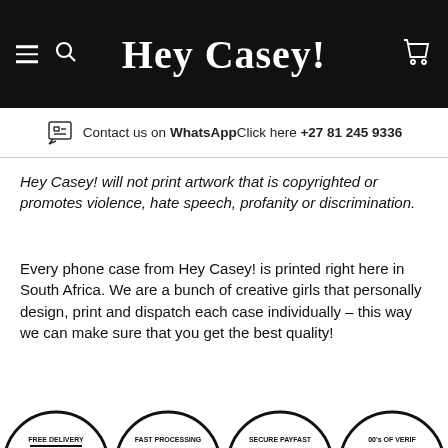Hey Casey!
Contact us on WhatsAppClick here +27 81 245 9336
Hey Casey! will not print artwork that is copyrighted or promotes violence, hate speech, profanity or discrimination.
Every phone case from Hey Casey! is printed right here in South Africa. We are a bunch of creative girls that personally design, print and dispatch each case individually – this way we can make sure that you get the best quality!
CUSTOMIZE IT!
[Figure (other): Row of circular badge icons: FREE DELIVERY, FAST PROCESSING, SECURE PAYFAST, and a fourth partially visible badge at the bottom of the page]